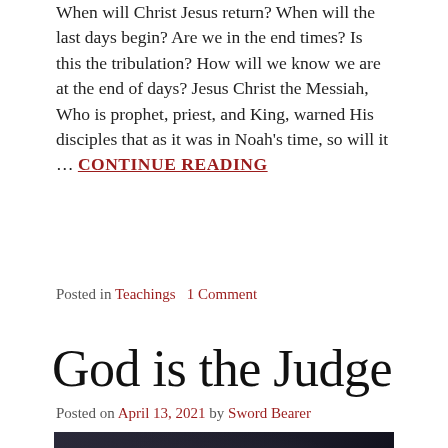When will Christ Jesus return? When will the last days begin? Are we in the end times? Is this the tribulation? How will we know we are at the end of days? Jesus Christ the Messiah, Who is prophet, priest, and King, warned His disciples that as it was in Noah's time, so will it … CONTINUE READING
Posted in Teachings   1 Comment
God is the Judge
Posted on April 13, 2021 by Sword Bearer
[Figure (photo): Dark moody background image with old English calligraphic text reading 'And as it is' on a stormy dark sky backdrop]